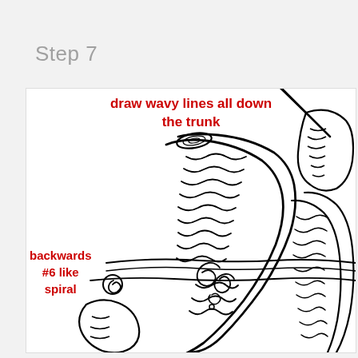Step 7
[Figure (illustration): Hand-drawn sketch of a log/tree trunk with wavy lines drawn all down the trunk depicting wood grain texture, along with a backwards #6-like spiral detail at the base where branches join. Annotations in red text label the drawing techniques.]
draw wavy lines all down the trunk
backwards #6 like spiral